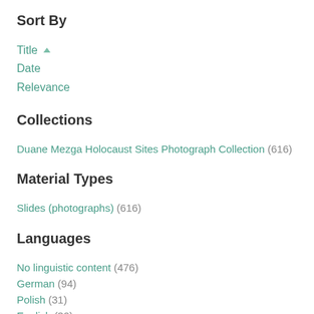Sort By
Title (active, ascending)
Date
Relevance
Collections
Duane Mezga Holocaust Sites Photograph Collection (616)
Material Types
Slides (photographs) (616)
Languages
No linguistic content (476)
German (94)
Polish (31)
English (30)